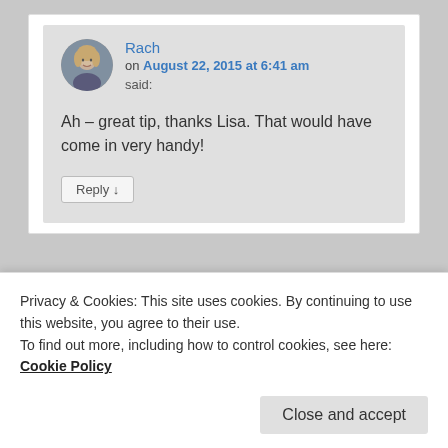Rach on August 22, 2015 at 6:41 am said:
Ah – great tip, thanks Lisa. That would have come in very handy!
Reply ↓
[Figure (other): Partially visible second comment with pink/magenta envelope-style avatar icon]
Privacy & Cookies: This site uses cookies. By continuing to use this website, you agree to their use. To find out more, including how to control cookies, see here: Cookie Policy
Close and accept